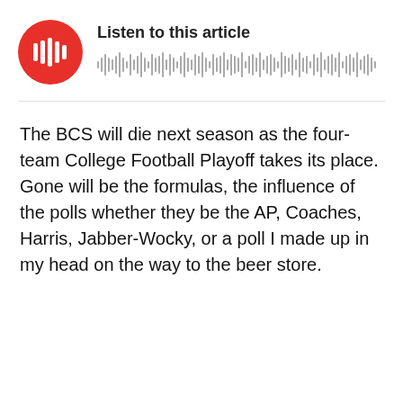[Figure (other): Audio player widget with red circular play button showing sound wave icon and text 'Listen to this article' with audio waveform visualization]
The BCS will die next season as the four-team College Football Playoff takes its place. Gone will be the formulas, the influence of the polls whether they be the AP, Coaches, Harris, Jabber-Wocky, or a poll I made up in my head on the way to the beer store.